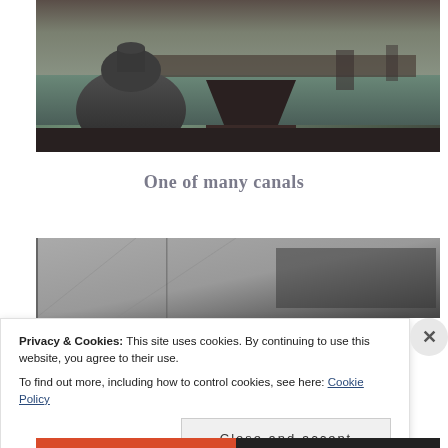[Figure (photo): Aerial panoramic view of Venice, Italy, showing domed church rooftops in the foreground and the lagoon with city skyline in the background, photographed in dark moody tones.]
One of many canals
[Figure (photo): Partial view of a building or structure, dark grey tones, partially obscured by cookie consent banner.]
Privacy & Cookies: This site uses cookies. By continuing to use this website, you agree to their use.
To find out more, including how to control cookies, see here: Cookie Policy
Close and accept